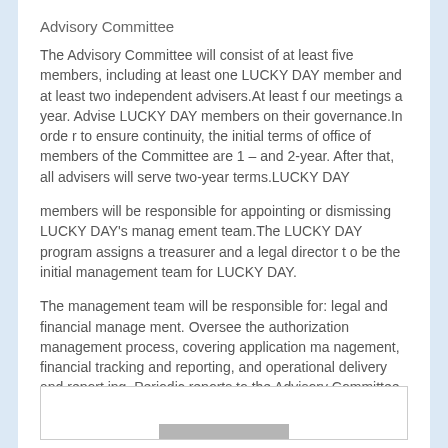Advisory Committee
The Advisory Committee will consist of at least five members, including at least one LUCKY DAY member and at least two independent advisers.At least f our meetings a year. Advise LUCKY DAY members on their governance.In orde r to ensure continuity, the initial terms of office of members of the Committee are 1 – and 2-year. After that, all advisers will serve two-year terms.LUCKY DAY
members will be responsible for appointing or dismissing LUCKY DAY's manag ement team.The LUCKY DAY program assigns a treasurer and a legal director t o be the initial management team for LUCKY DAY.
The management team will be responsible for: legal and financial manage ment. Oversee the authorization management process, covering application ma nagement, financial tracking and reporting, and operational delivery and report ing. Periodic reports to the Advisory Committee.